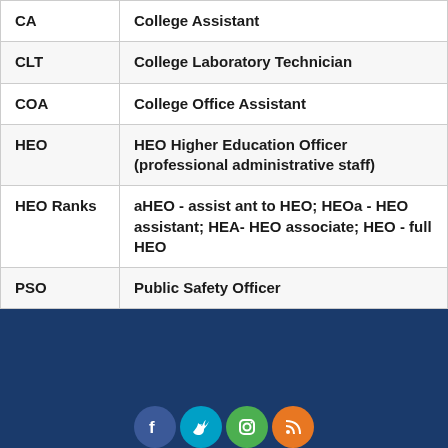| Abbreviation | Description |
| --- | --- |
| CA | College Assistant |
| CLT | College Laboratory Technician |
| COA | College Office Assistant |
| HEO | HEO Higher Education Officer (professional administrative staff) |
| HEO Ranks | aHEO - assist ant to HEO; HEOa - HEO assistant; HEA- HEO associate; HEO - full HEO |
| PSO | Public Safety Officer |
Social media icons: Facebook, Twitter, Instagram, RSS